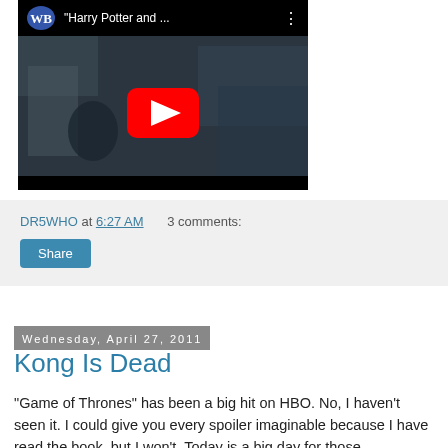[Figure (screenshot): YouTube video thumbnail showing Harry Potter movie trailer with WB logo, play button, dark scene background, title 'Harry Potter and ...']
DR5WHO at 6:27 AM   3 comments:
Share
Wednesday, April 27, 2011
Kong Is Dead
"Game of Thrones" has been a big hit on HBO. No, I haven't seen it. I could give you every spoiler imaginable because I have read the book, but I won't. Today is a big day for those